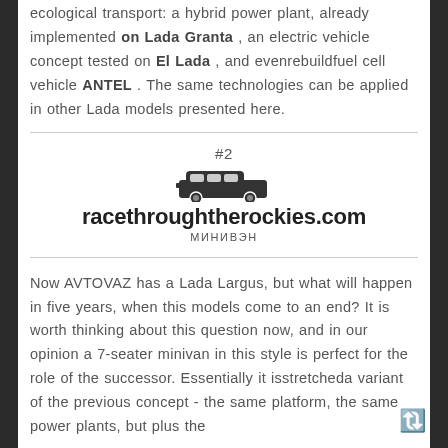ecological transport: a hybrid power plant, already implemented on Lada Granta , an electric vehicle concept tested on El Lada , and evenrebuildfuel cell vehicle ANTEL . The same technologies can be applied in other Lada models presented here.
[Figure (logo): Minivan car icon with text '#2', 'racethroughtherockies.com' and Cyrillic text 'МИНИВЭН']
Now AVTOVAZ has a Lada Largus, but what will happen in five years, when this models come to an end? It is worth thinking about this question now, and in our opinion a 7-seater minivan in this style is perfect for the role of the successor. Essentially it isstretcheda variant of the previous concept - the same platform, the same power plants, but plus the